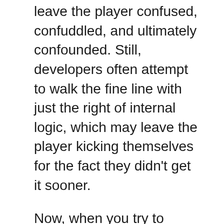leave the player confused, confuddled, and ultimately confounded. Still, developers often attempt to walk the fine line with just the right of internal logic, which may leave the player kicking themselves for the fact they didn't get it sooner.
Now, when you try to connect these puzzles to a narrative, you only really need to apply “logic” to the actual puzzle-solving. Leaving everything else fair game. This is probably why puzzle games are all so drastically different from one another. After a glance at the FireArt Games-developed TOHU, I was interested to see what type of puzzle adventure was awaiting me behind its charming presentation.